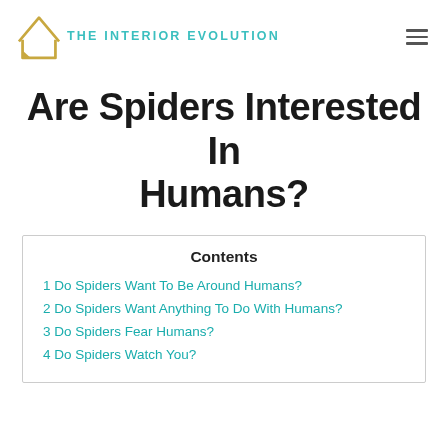THE INTERIOR EVOLUTION
Are Spiders Interested In Humans?
| Contents |
| --- |
| 1 Do Spiders Want To Be Around Humans? |
| 2 Do Spiders Want Anything To Do With Humans? |
| 3 Do Spiders Fear Humans? |
| 4 Do Spiders Watch You? |